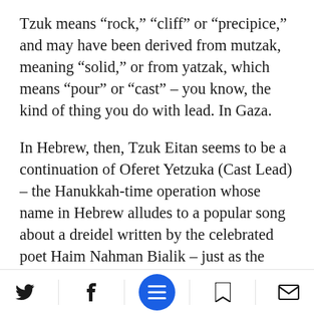Tzuk means “rock,” “cliff” or “precipice,” and may have been derived from mutzak, meaning “solid,” or from yatzak, which means “pour” or “cast” – you know, the kind of thing you do with lead. In Gaza.
In Hebrew, then, Tzuk Eitan seems to be a continuation of Oferet Yetzuka (Cast Lead) – the Hanukkah-time operation whose name in Hebrew alludes to a popular song about a dreidel written by the celebrated poet Haim Nahman Bialik – just as the English operation names have gone from Pillar of Defense to Protective Edge, ling…ally reinforcing the
Twitter | Facebook | Menu | Bookmark | Email